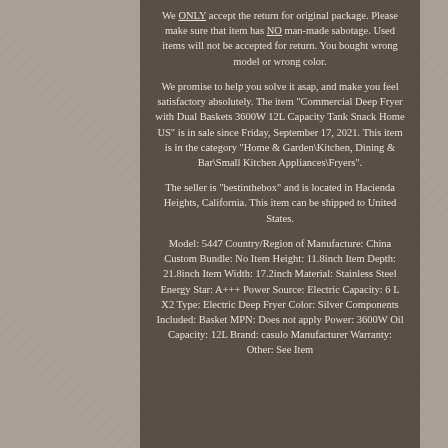We ONLY accept the return for original package. Please make sure that item has NO man-made sabotage. Used items will not be accepted for return. You bought wrong model or wrong color.
We promise to help you solve it asap, and make you feel satisfactory absolutely. The item "Commercial Deep Fryer with Dual Baskets 3600W 12L Capacity Tank Snack Home US" is in sale since Friday, September 17, 2021. This item is in the category "Home & Garden\Kitchen, Dining & Bar\Small Kitchen Appliances\Fryers".
The seller is "bestinthebox" and is located in Hacienda Heights, California. This item can be shipped to United States.
Model: 5447 Country/Region of Manufacture: China Custom Bundle: No Item Height: 11.8inch Item Depth: 21.8inch Item Width: 17.2inch Material: Stainless Steel Energy Star: A+++ Power Source: Electric Capacity: 6 L X2 Type: Electric Deep Fryer Color: Silver Components Included: Basket MPN: Does not apply Power: 3600W Oil Capacity: 12L Brand: casulo Manufacturer Warranty: Other: See Item